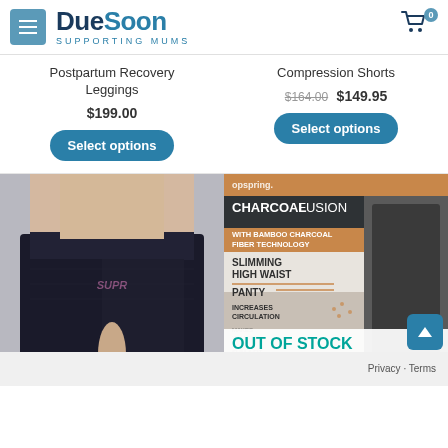[Figure (logo): DueSoon logo with hamburger menu icon and shopping cart]
Postpartum Recovery Leggings
$199.00
Select options
Compression Shorts
$164.00 $149.95
Select options
[Figure (photo): Woman wearing black compression shorts/bike shorts]
[Figure (photo): Charcoal Fusion product packaging - Slimming High Waist Panty with bamboo charcoal fiber technology, OUT OF STOCK overlay]